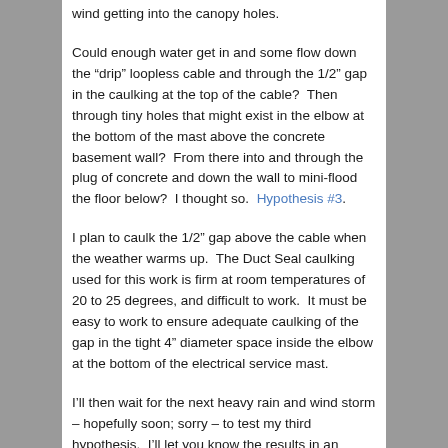wind getting into the canopy holes.
Could enough water get in and some flow down the “drip” loopless cable and through the 1/2” gap in the caulking at the top of the cable?  Then through tiny holes that might exist in the elbow at the bottom of the mast above the concrete basement wall?  From there into and through the plug of concrete and down the wall to mini-flood the floor below?  I thought so.  Hypothesis #3.
I plan to caulk the 1/2” gap above the cable when the weather warms up.  The Duct Seal caulking used for this work is firm at room temperatures of 20 to 25 degrees, and difficult to work.  It must be easy to work to ensure adequate caulking of the gap in the tight 4” diameter space inside the elbow at the bottom of the electrical service mast.
I’ll then wait for the next heavy rain and wind storm – hopefully soon; sorry – to test my third hypothesis.  I’ll let you know the results in an update of this blog.